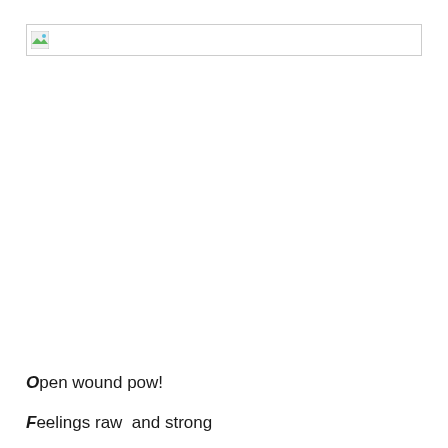[Figure (other): Broken/missing image placeholder with small landscape icon in top-left corner, shown inside a bordered rectangle]
http://www.russianwomenmagazine.com/images/teatime.gif
Open wound pow!
Feelings raw  and strong